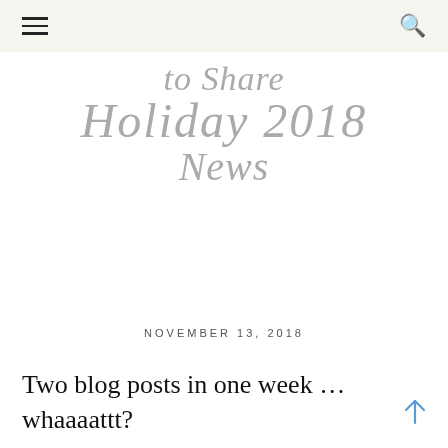≡  🔍
to Share Holiday 2018 News
NOVEMBER 13, 2018
Two blog posts in one week … whaaaattt?